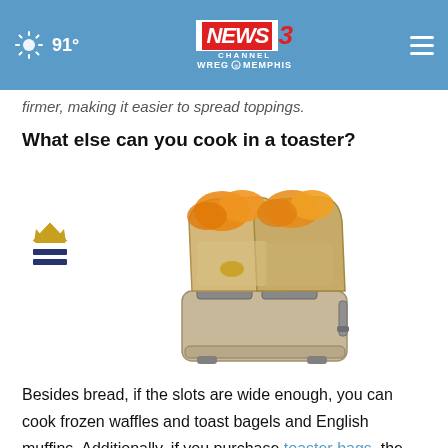91° NEWS CHANNEL 3 WREG MEMPHIS
firmer, making it easier to spread toppings.
What else can you cook in a toaster?
[Figure (photo): A toaster bag containing bread and orange slices sitting in a toaster slot, with a crown and menu icon to the left.]
Besides bread, if the slots are wide enough, you can cook frozen waffles and toast bagels and English muffins. Additionally, if you purchase toaster bags, the options of what you can make in a toaster expand considerably. Reusable, heat-resistant toaster bags